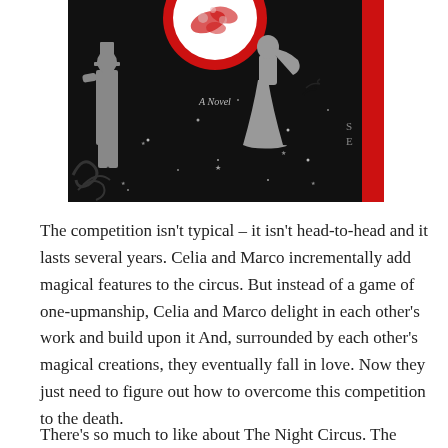[Figure (illustration): Book cover of a novel featuring black background with two grey silhouettes (a man in top hat on left, a woman in flowing dress on right), a circular red and white emblem at top center with floral imagery, stars scattered in background, red strip on right edge, and italic text 'A Novel' in center.]
The competition isn't typical – it isn't head-to-head and it lasts several years. Celia and Marco incrementally add magical features to the circus. But instead of a game of one-upmanship, Celia and Marco delight in each other's work and build upon it And, surrounded by each other's magical creations, they eventually fall in love. Now they just need to figure out how to overcome this competition to the death.
There's so much to like about The Night Circus. The setting on...